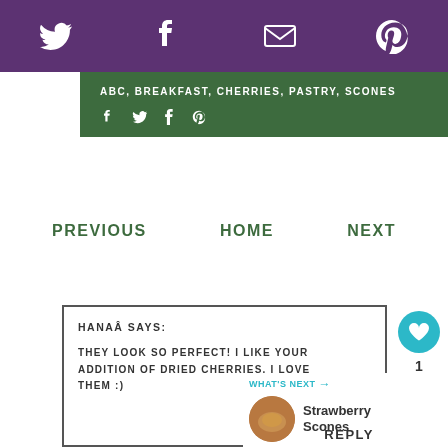Twitter, Facebook, Email, Pinterest social icons
ABC, BREAKFAST, CHERRIES, PASTRY, SCONES
Facebook, Twitter, Tumblr, Pinterest share icons
PREVIOUS   HOME   NEXT
HANAÂ SAYS: THEY LOOK SO PERFECT! I LIKE YOUR ADDITION OF DRIED CHERRIES. I LOVE THEM :)
WHAT'S NEXT → Strawberry Scones
REPLY